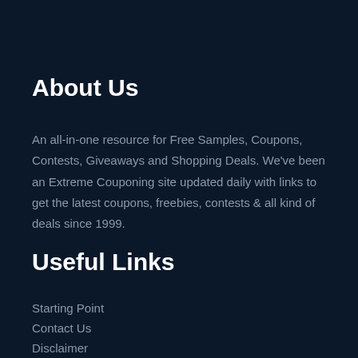About Us
An all-in-one resource for Free Samples, Coupons, Contests, Giveaways and Shopping Deals. We've been an Extreme Couponing site updated daily with links to get the latest coupons, freebies, contests & all kind of deals since 1999.
Useful Links
Starting Point
Contact Us
Disclaimer
Previous offers